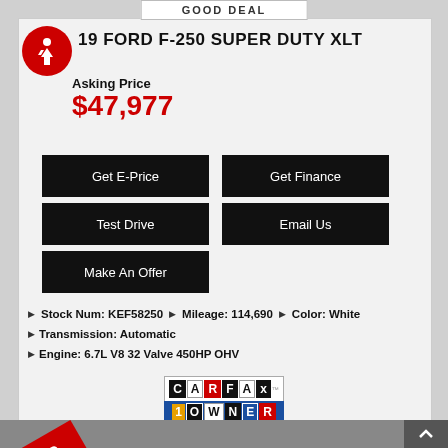GOOD DEAL
2019 FORD F-250 SUPER DUTY XLT
Asking Price
$47,977
Get E-Price
Get Finance
Test Drive
Email Us
Make An Offer
Stock Num: KEF58250   ▶ Mileage: 114,690   ▶ Color: White
Transmission: Automatic
Engine: 6.7L V8 32 Valve 450HP OHV
[Figure (logo): CARFAX 1 Owner Good Value badge]